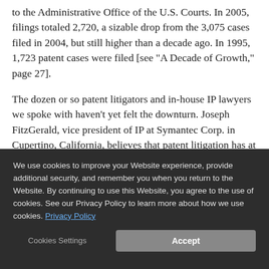to the Administrative Office of the U.S. Courts. In 2005, filings totaled 2,720, a sizable drop from the 3,075 cases filed in 2004, but still higher than a decade ago. In 1995, 1,723 patent cases were filed [see "A Decade of Growth," page 27].
The dozen or so patent litigators and in-house IP lawyers we spoke with haven't yet felt the downturn. Joseph FitzGerald, vice president of IP at Symantec Corp. in Cupertino, California, believes that patent litigation has at the very least remained steady. "The traditional litigation shops seem as busy as ever," he says. In May,
We use cookies to improve your Website experience, provide additional security, and remember you when you return to the Website. By continuing to use this Website, you agree to the use of cookies. See our Privacy Policy to learn more about how we use cookies. Privacy Policy